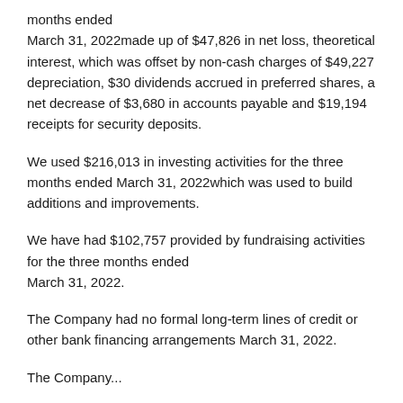months ended March 31, 2022made up of $47,826 in net loss, theoretical interest, which was offset by non-cash charges of $49,227 depreciation, $30 dividends accrued in preferred shares, a net decrease of $3,680 in accounts payable and $19,194 receipts for security deposits.
We used $216,013 in investing activities for the three months ended March 31, 2022which was used to build additions and improvements.
We have had $102,757 provided by fundraising activities for the three months ended March 31, 2022.
The Company had no formal long-term lines of credit or other bank financing arrangements March 31, 2022.
The Company...